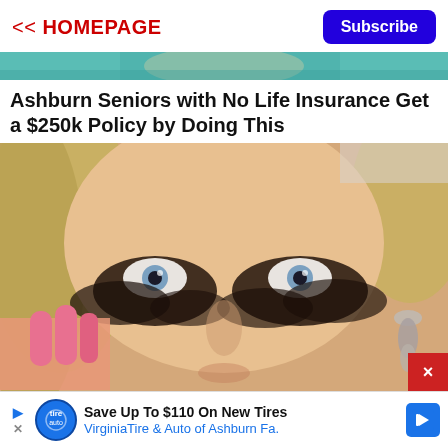<< HOMEPAGE | Subscribe
[Figure (photo): Partial top strip of a person in green/teal clothing, cropped at top of page]
Ashburn Seniors with No Life Insurance Get a $250k Policy by Doing This
[Figure (photo): Close-up photo of a blonde woman with dramatic dark eye makeup/coffee grounds under her eyes, touching her face with pink manicured nails, wearing a dangling earring]
Save Up To $110 On New Tires
VirginiaTire & Auto of Ashburn Fa.